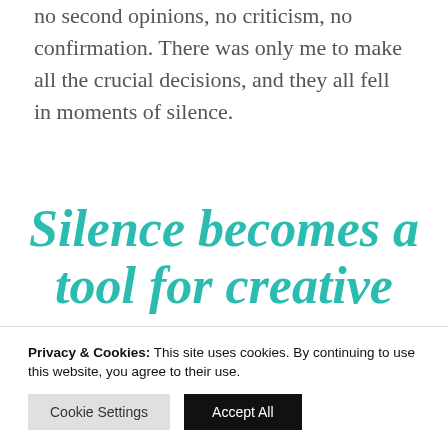no second opinions, no criticism, no confirmation. There was only me to make all the crucial decisions, and they all fell in moments of silence.
Silence becomes a tool for creative
Privacy & Cookies: This site uses cookies. By continuing to use this website, you agree to their use.